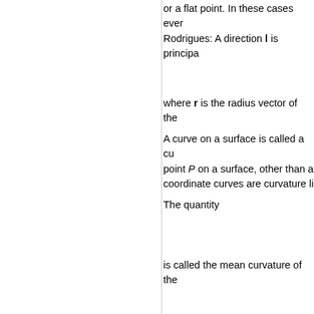or a flat point. In these cases ever Rodrigues: A direction l is principa
where r is the radius vector of the
A curve on a surface is called a cu point P on a surface, other than a coordinate curves are curvature li
The quantity
is called the mean curvature of the
is called the Gaussian (or total) cu geometry of the surface, i.e. it ca